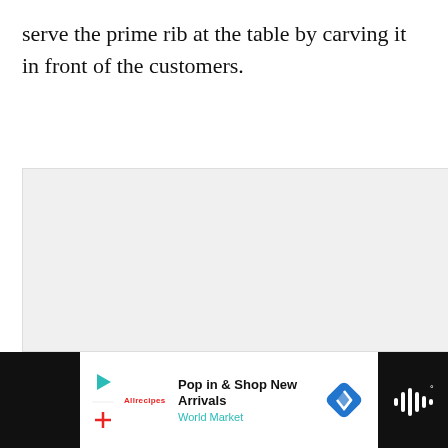serve the prime rib at the table by carving it in front of the customers.
[Figure (other): Large light gray blank/empty image area (video or photo placeholder)]
[Figure (infographic): UI overlay elements: teal heart like button, like count '62', share button, and 'WHAT'S NEXT' panel showing 'Kitchen Nightmares...']
[Figure (infographic): Advertisement bar at bottom: Play icon, Allrecipes brand, 'Pop in & Shop New Arrivals', 'World Market', blue diamond navigation icon, and dark right panel with audio waveform icon]